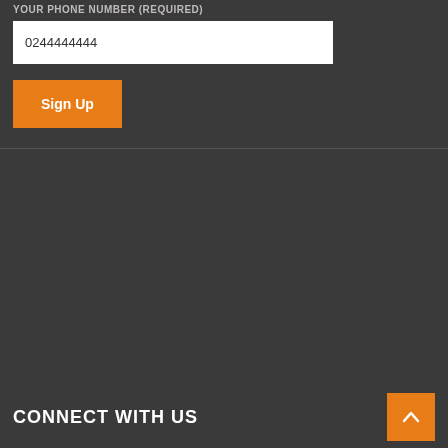YOUR PHONE NUMBER (REQUIRED)
0244444444
Sign Up
y x
CONNECT WITH US